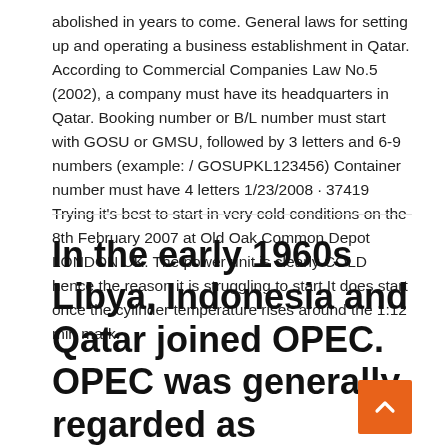abolished in years to come. General laws for setting up and operating a business establishment in Qatar. According to Commercial Companies Law No.5 (2002), a company must have its headquarters in Qatar. Booking number or B/L number must start with GOSU or GMSU, followed by 3 letters and 6-9 numbers (example: / GOSUPKL123456) Container number must have 4 letters 1/23/2008 · 37419 Trying it's best to start in very cold conditions on the 8th February 2007 at Old Oak Common Depot LONDON UK. The power unit is clearly COLD hence the reason it is struggling to start.It does start once the cylinder temperature rises around the 1:12 min mark.
In the early 1960s Libya, Indonesia and Qatar joined OPEC. OPEC was generally regarded as ineffective until political